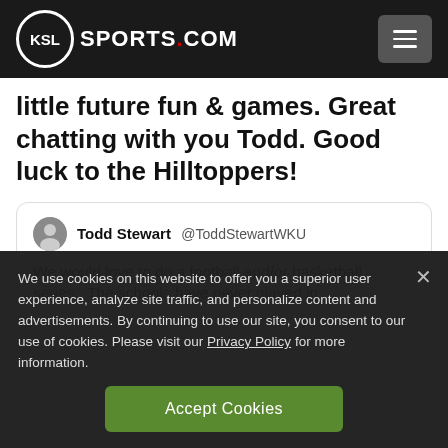KSL SPORTS.COM
little future fun & games. Great chatting with you Todd. Good luck to the Hilltoppers!
Todd Stewart @ToddStewartWKU
We would love to do a football and/or basketball series.  The schools have never played in
We use cookies on this website to offer you a superior user experience, analyze site traffic, and personalize content and advertisements. By continuing to use our site, you consent to our use of cookies. Please visit our Privacy Policy for more information.
Accept Cookies